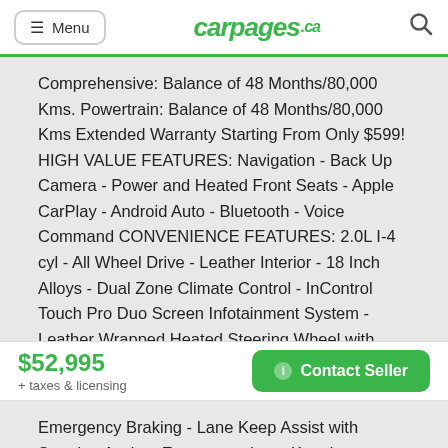carpages.ca
Comprehensive: Balance of 48 Months/80,000 Kms. Powertrain: Balance of 48 Months/80,000 Kms Extended Warranty Starting From Only $599! HIGH VALUE FEATURES: Navigation - Back Up Camera - Power and Heated Front Seats - Apple CarPlay - Android Auto - Bluetooth - Voice Command CONVENIENCE FEATURES: 2.0L I-4 cyl - All Wheel Drive - Leather Interior - 18 Inch Alloys - Dual Zone Climate Control - InControl Touch Pro Duo Screen Infotainment System - Leather Wrapped Heated Steering Wheel with Mounted
$52,995 + taxes & licensing
Contact Seller
Emergency Braking - Lane Keep Assist with Steering Assist - Emergency Lane Keeping